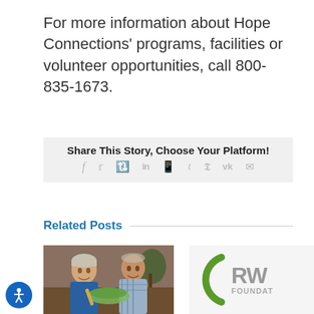For more information about Hope Connections' programs, facilities or volunteer opportunities, call 800-835-1673.
Share This Story, Choose Your Platform!
[Figure (infographic): Social media share icons: Facebook, Twitter, Reddit, LinkedIn, WhatsApp, Tumblr, Pinterest, VK, Email]
Related Posts
[Figure (photo): Photo of an elderly couple dining together, smiling]
[Figure (logo): RW Foundation logo with green arc and gray text]